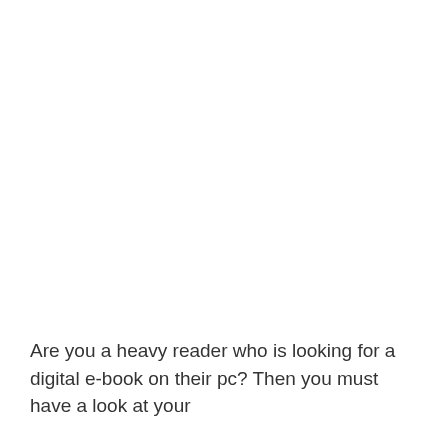Are you a heavy reader who is looking for a digital e-book on their pc? Then you must have a look at your